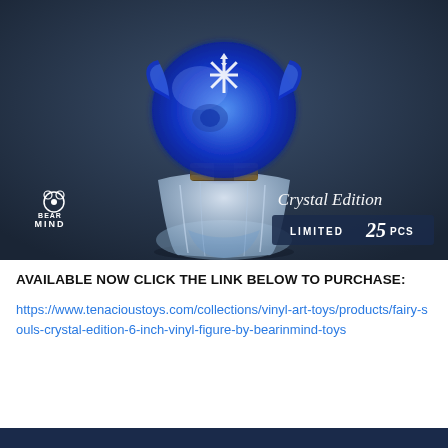[Figure (photo): A blue crystal translucent vinyl art toy figure (Fairy Souls Crystal Edition) by BearInMind Toys. The figure has a glowing blue head with pointed ears and a white symbol on it, sitting on a pearlescent white/clear robe-like body with a metallic gold collar. The background is dark blue-grey. Text overlay in lower right reads 'Crystal Edition LIMITED 25 PCS' in white script and bold text. BearInMind logo appears in lower left.]
AVAILABLE NOW CLICK THE LINK BELOW TO PURCHASE:
https://www.tenacioustoys.com/collections/vinyl-art-toys/products/fairy-souls-crystal-edition-6-inch-vinyl-figure-by-bearinmind-toys